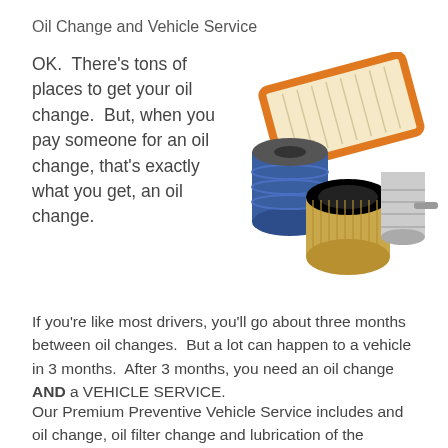Oil Change and Vehicle Service
OK.  There's tons of places to get your oil change.  But, when you pay someone for an oil change, that's exactly what you get, an oil change.
[Figure (photo): Photo of various automotive filters including an air filter, oil filter, fuel filter, and other filters arranged together]
If you're like most drivers, you'll go about three months between oil changes.  But a lot can happen to a vehicle in 3 months.  After 3 months, you need an oil change AND a VEHICLE SERVICE.
Our Premium Preventive Vehicle Service includes and oil change, oil filter change and lubrication of the